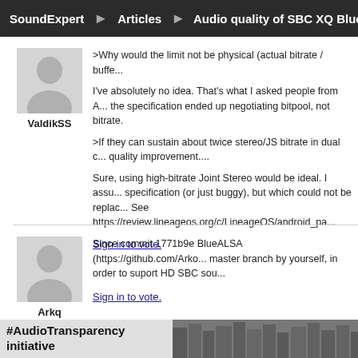SoundExpert > Articles > Audio quality of SBC XQ Bluetooth audio cod...
[Figure (illustration): Avatar placeholder (grey silhouette) for user ValdikSS]
ValdikSS
>Why would the limit not be physical (actual bitrate / buffe...

I've absolutely no idea. That's what I asked people from A... the specification ended up negotiating bitpool, not bitrate.

>If they can sustain about twice stereo/JS bitrate in dual c... quality improvement....

Sure, using high-bitrate Joint Stereo would be ideal. I assu... specification (or just buggy), but which could not be replac... See https://review.lineageos.org/c/LineageOS/android_pa...
Sign in to vote.
[Figure (illustration): Avatar placeholder (grey silhouette) for user Arkq]
Arkq
Since commit 1771b9e BlueALSA (https://github.com/Arko... master branch by yourself, in order to suport HD SBC sou...
Sign in to vote.
Showing 1 - 20 of 25 results.
#AudioTransparency initiative